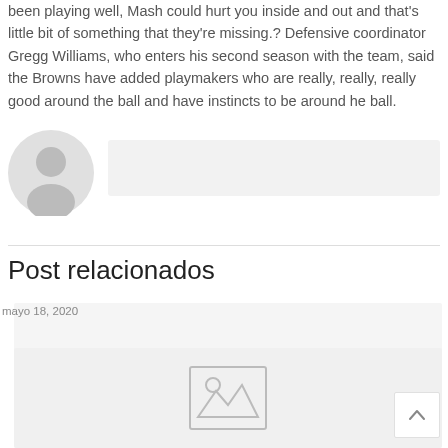been playing well, Mash could hurt you inside and out and that's little bit of something that they're missing.? Defensive coordinator Gregg Williams, who enters his second season with the team, said the Browns have added playmakers who are really, really, really good around the ball and have instincts to be around he ball.
[Figure (illustration): User avatar placeholder circle with person silhouette icon, followed by a gray comment input box]
Post relacionados
[Figure (photo): Related post card with date 'mayo 18, 2020' and a placeholder image icon (mountain/landscape icon) on a light gray background]